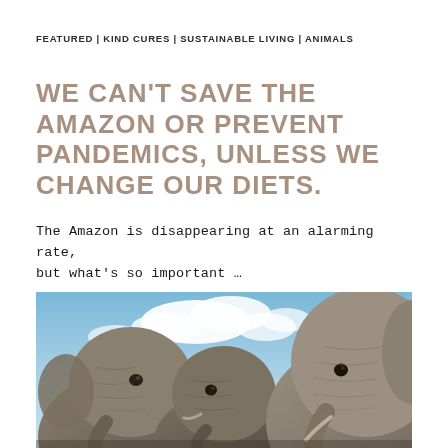FEATURED | KIND CURES | SUSTAINABLE LIVING | ANIMALS
WE CAN'T SAVE THE AMAZON OR PREVENT PANDEMICS, UNLESS WE CHANGE OUR DIETS.
The Amazon is disappearing at an alarming rate, but what's so important …
[Figure (photo): Three elephants photographed from a low angle looking up, with a bright blue sky and white clouds behind them. The elephants fill the frame, showing their wrinkled grey skin, trunks, and faces.]